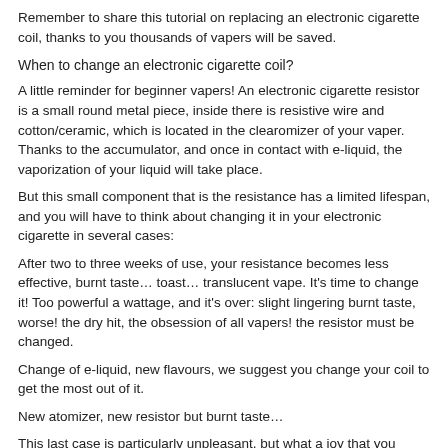Remember to share this tutorial on replacing an electronic cigarette coil, thanks to you thousands of vapers will be saved.
When to change an electronic cigarette coil?
A little reminder for beginner vapers! An electronic cigarette resistor is a small round metal piece, inside there is resistive wire and cotton/ceramic, which is located in the clearomizer of your vaper. Thanks to the accumulator, and once in contact with e-liquid, the vaporization of your liquid will take place.
But this small component that is the resistance has a limited lifespan, and you will have to think about changing it in your electronic cigarette in several cases:
After two to three weeks of use, your resistance becomes less effective, burnt taste… toast… translucent vape. It's time to change it! Too powerful a wattage, and it's over: slight lingering burnt taste, worse! the dry hit, the obsession of all vapers! the resistor must be changed.
Change of e-liquid, new flavours, we suggest you change your coil to get the most out of it.
New atomizer, new resistor but burnt taste…
This last case is particularly unpleasant, but what a joy that you came across this blog! Thanks to reading this tutorial, changing your electronic cigarette resistance will become child's play!
How to properly prime your electronic cigarette resistance?